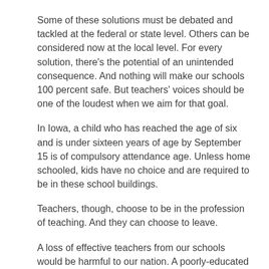Some of these solutions must be debated and tackled at the federal or state level. Others can be considered now at the local level. For every solution, there’s the potential of an unintended consequence. And nothing will make our schools 100 percent safe. But teachers' voices should be one of the loudest when we aim for that goal.
In Iowa, a child who has reached the age of six and is under sixteen years of age by September 15 is of compulsory attendance age. Unless home schooled, kids have no choice and are required to be in these school buildings.
Teachers, though, choose to be in the profession of teaching. And they can choose to leave.
A loss of effective teachers from our schools would be harmful to our nation. A poorly-educated populace could lead to a different kind of Wild West—one that none of us wants.
Share this: